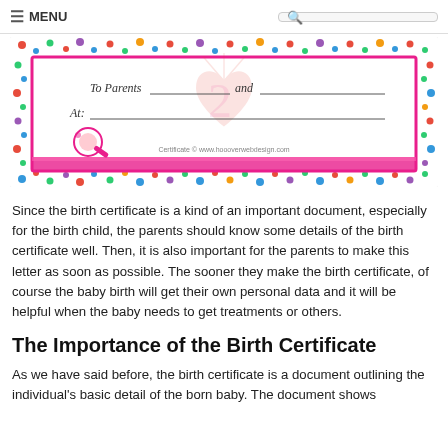≡ MENU  [search]
[Figure (illustration): A decorative baby birth certificate template with colorful polka dot border in pink, blue, green and red. Shows fields 'To Parents ___ and ___' and 'At: ___' with a baby rattle illustration and watermark heart. Copyright: Certificate © www.hoooverwebdesign.com]
Since the birth certificate is a kind of an important document, especially for the birth child, the parents should know some details of the birth certificate well. Then, it is also important for the parents to make this letter as soon as possible. The sooner they make the birth certificate, of course the baby birth will get their own personal data and it will be helpful when the baby needs to get treatments or others.
The Importance of the Birth Certificate
As we have said before, the birth certificate is a document outlining the individual's basic detail of the born baby. The document shows